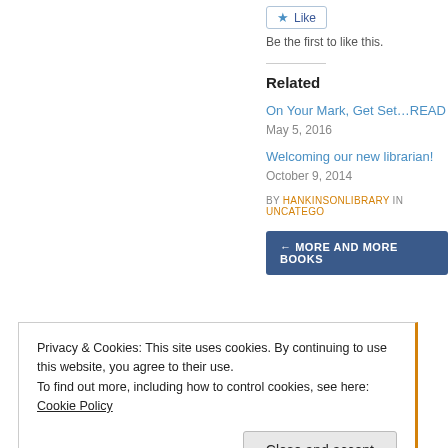Like
Be the first to like this.
Related
On Your Mark, Get Set…READ
May 5, 2016
Welcoming our new librarian!
October 9, 2014
BY HANKINSONLIBRARY IN UNCATEGO
← MORE AND MORE BOOKS
Privacy & Cookies: This site uses cookies. By continuing to use this website, you agree to their use.
To find out more, including how to control cookies, see here: Cookie Policy
Close and accept